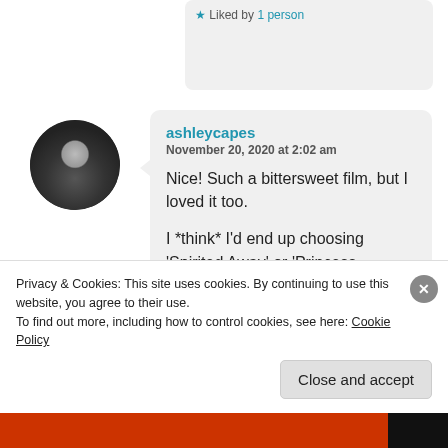★ Liked by 1 person
[Figure (photo): Circular avatar photo of a person wearing a dark hat, dark tones]
ashleycapes
November 20, 2020 at 2:02 am

Nice! Such a bittersweet film, but I loved it too.

I *think* I'd end up choosing 'Spirited Away' or 'Princess Mononoke' re: his best 🙂

And cool! 'Nausicaa' is a
Privacy & Cookies: This site uses cookies. By continuing to use this website, you agree to their use.
To find out more, including how to control cookies, see here: Cookie Policy
Close and accept